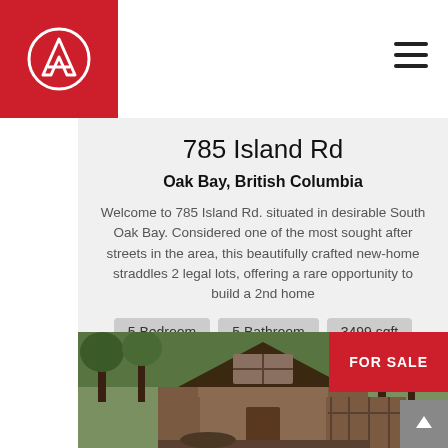[Figure (logo): The Agency logo — white stylized 'A' in a circle on a red square background]
785 Island Rd
Oak Bay, British Columbia
Welcome to 785 Island Rd. situated in desirable South Oak Bay. Considered one of the most sought after streets in the area, this beautifully crafted new-home straddles 2 legal lots, offering a rare opportunity to build a 2nd home
5 Bedroom
5 Bathroom
3499 sqft
The Agency
[Figure (photo): Exterior photo of a craftsman-style home with wood and dark roof surrounded by trees, with a red FOR SALE badge in the top right corner]